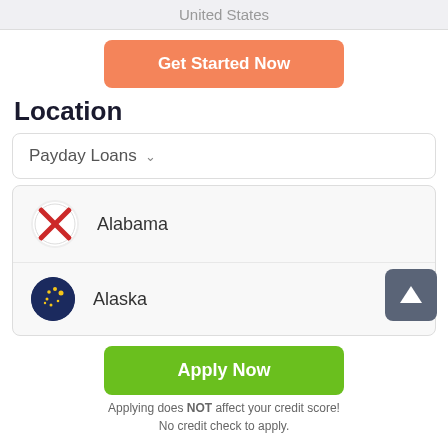United States
Get Started Now
Location
Payday Loans
Alabama
Alaska
Apply Now
Applying does NOT affect your credit score! No credit check to apply.